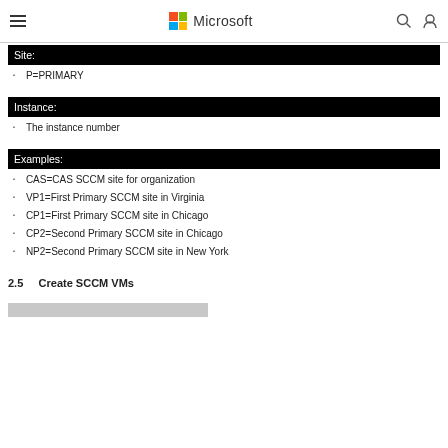Microsoft
Site:
P=PRIMARY
Instance:
The instance number
Examples:
CAS=CAS SCCM site for organization
VP1=First Primary SCCM site in Virginia
CP1=First Primary SCCM site in Chicago
CP2=Second Primary SCCM site in Chicago
NP2=Second Primary SCCM site in New York
2.5    Create SCCM VMs
[Figure (other): Gray bar/image at bottom of page (partially visible)]